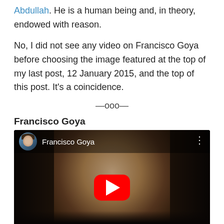Abdullah. He is a human being and, in theory, endowed with reason.
No, I did not see any video on Francisco Goya before choosing the image featured at the top of my last post, 12 January 2015, and the top of this post. It's a coincidence.
—ooo—
Francisco Goya
[Figure (screenshot): YouTube video thumbnail showing a Francisco Goya painting of a woman's face with dark background. The video player shows the title 'Francisco Goya' with a channel avatar, a red YouTube play button in the center, and a three-dot menu icon in the top right.]